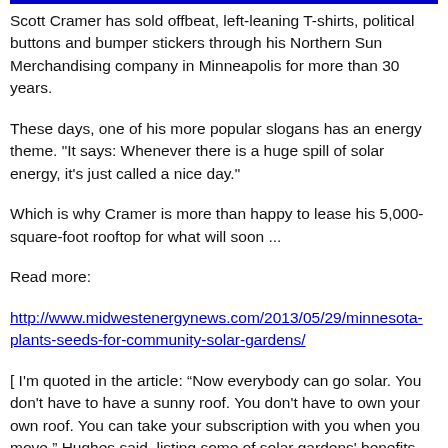Scott Cramer has sold offbeat, left-leaning T-shirts, political buttons and bumper stickers through his Northern Sun Merchandising company in Minneapolis for more than 30 years.
These days, one of his more popular slogans has an energy theme. "It says: Whenever there is a huge spill of solar energy, it's just called a nice day."
Which is why Cramer is more than happy to lease his 5,000-square-foot rooftop for what will soon ...
Read more:
http://www.midwestenergynews.com/2013/05/29/minnesota-plants-seeds-for-community-solar-gardens/
[ I'm quoted in the article: “Now everybody can go solar. You don't have to have a sunny roof. You don't have to own your own roof. You can take your subscription with you when you move.” Hughes said, listing some of solar gardens' benefits ]